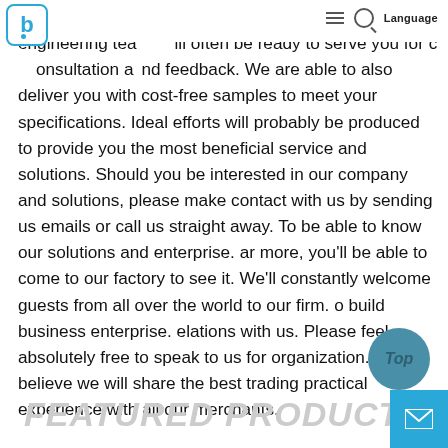Navigation header with logo, hamburger menu, search icon, and Language button
been well received in our main industry. Our expert engineering team will often be ready to serve you for consultation and feedback. We are able to also deliver you with cost-free samples to meet your specifications. Ideal efforts will probably be produced to provide you the most beneficial service and solutions. Should you be interested in our company and solutions, please make contact with us by sending us emails or call us straight away. To be able to know our solutions and enterprise. ar more, you'll be able to come to our factory to see it. We'll constantly welcome guests from all over the world to our firm. o build business enterprise. elations with us. Please feel absolutely free to speak to us for organization. nd we believe we will share the best trading practical experience with all our merchants.
FEATURED PRODUCTS